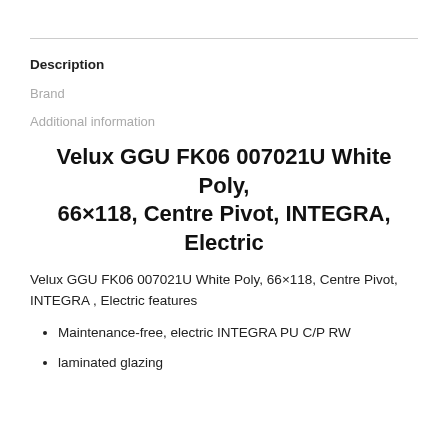Description
Brand
Additional information
Velux GGU FK06 007021U White Poly, 66×118, Centre Pivot, INTEGRA, Electric
Velux GGU FK06 007021U White Poly, 66×118, Centre Pivot, INTEGRA , Electric features
Maintenance-free, electric INTEGRA PU C/P RW
laminated glazing